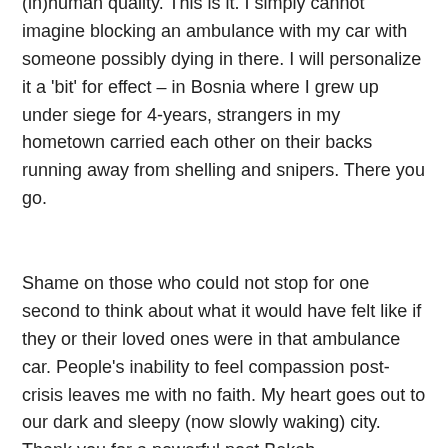(in)human quality. This is it. I simply cannot imagine blocking an ambulance with my car with someone possibly dying in there. I will personalize it a 'bit' for effect – in Bosnia where I grew up under siege for 4-years, strangers in my hometown carried each other on their backs running away from shelling and snipers. There you go.
Shame on those who could not stop for one second to think about what it would have felt like if they or their loved ones were in that ambulance car. People's inability to feel compassion post-crisis leaves me with no faith. My heart goes out to our dark and sleepy (now slowly waking) city. Thank you for a powerful post Bekah.